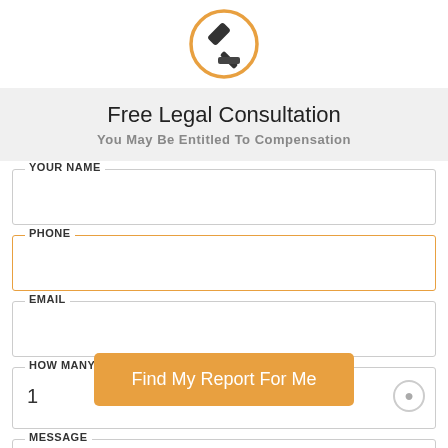[Figure (logo): Legal/law hammer icon in orange circle]
Free Legal Consultation
You May Be Entitled To Compensation
YOUR NAME (form field)
PHONE (form field)
EMAIL (form field)
HOW MANY PEOPLE WERE INJURED (form field)
[Figure (other): Orange button overlay: Find My Report For Me]
MESSAGE (form field)